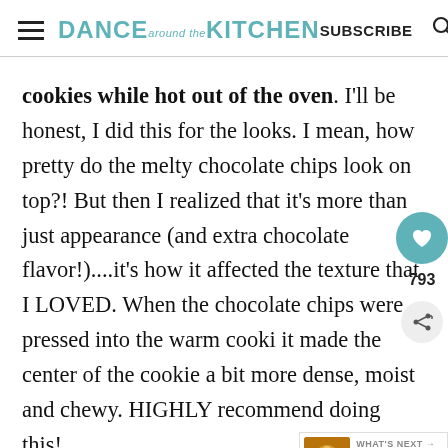DANCE around the KITCHEN   SUBSCRIBE
cookies while hot out of the oven. I'll be honest, I did this for the looks. I mean, how pretty do the melty chocolate chips look on top?! But then I realized that it's more than just appearance (and extra chocolate flavor!)....it's how it affected the texture that I LOVED. When the chocolate chips were pressed into the warm cooki it made the center of the cookie a bit more dense, moist and chewy. HIGHLY recommend doing this!